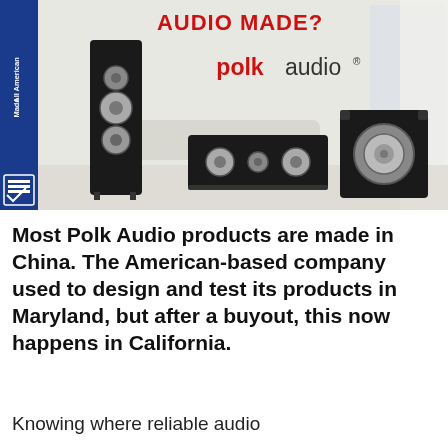[Figure (photo): Polk Audio advertisement banner showing speakers (floor-standing, center channel, and subwoofer) in a living room setting with 'All American Made' badge on blue stripe on left, red headline 'AUDIO MADE?' at top, and polk audio logo in center]
Most Polk Audio products are made in China. The American-based company used to design and test its products in Maryland, but after a buyout, this now happens in California.
Knowing where reliable audio